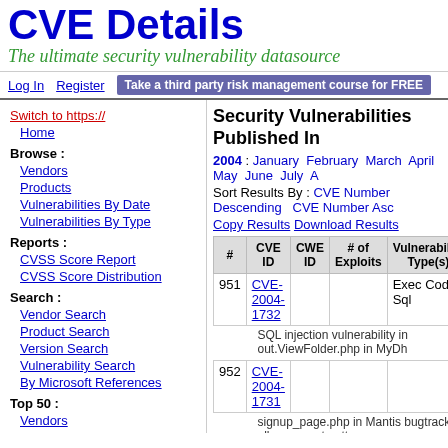CVE Details
The ultimate security vulnerability datasource
Log In   Register   Take a third party risk management course for FREE
Switch to https://
Home
Browse :
Vendors
Products
Vulnerabilities By Date
Vulnerabilities By Type
Reports :
CVSS Score Report
CVSS Score Distribution
Search :
Vendor Search
Product Search
Version Search
Vulnerability Search
By Microsoft References
Top 50 :
Vendors
Vendor Cvss Scores
Security Vulnerabilities Published In
2004 : January February March April May June July A
Sort Results By : CVE Number Descending   CVE Number Asc
Copy Results   Download Results
| # | CVE ID | CWE ID | # of Exploits | Vulnerability Type(s) |
| --- | --- | --- | --- | --- |
| 951 | CVE-2004-1732 |  |  | Exec Code Sql |
|  | SQL injection vulnerability in out.ViewFolder.php in MyDh |  |  |  |
| 952 | CVE-2004-1731 |  |  |  |
|  | signup_page.php in Mantis bugtracker allows remote atta |  |  |  |
| 953 | CVE-2004-1730 |  | XSS |  |
|  | Cross-site scripting (XSS) vulnerability in Mantis bugtra... (2) e-mail field in signup.php, (3) action parameter to logi |  |  |  |